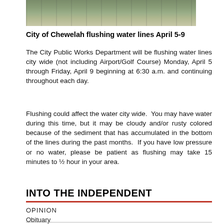[Figure (photo): Aerial photograph of buildings and parking area in Chewelah]
City of Chewelah flushing water lines April 5-9
The City Public Works Department will be flushing water lines city wide (not including Airport/Golf Course) Monday, April 5 through Friday, April 9 beginning at 6:30 a.m. and continuing throughout each day.
Flushing could affect the water city wide.  You may have water during this time, but it may be cloudy and/or rusty colored because of the sediment that has accumulated in the bottom of the lines during the past months.  If you have low pressure or no water, please be patient as flushing may take 15 minutes to ½ hour in your area.
INTO THE INDEPENDENT
OPINION
Obituary